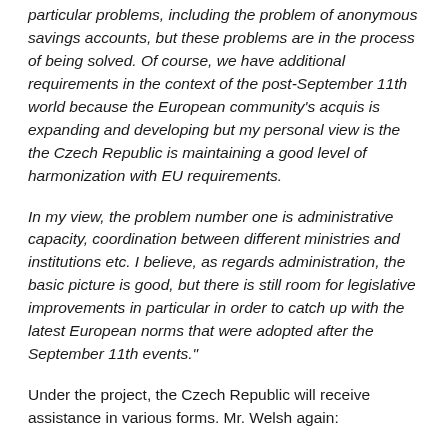particular problems, including the problem of anonymous savings accounts, but these problems are in the process of being solved. Of course, we have additional requirements in the context of the post-September 11th world because the European community's acquis is expanding and developing but my personal view is the the Czech Republic is maintaining a good level of harmonization with EU requirements.
In my view, the problem number one is administrative capacity, coordination between different ministries and institutions etc. I believe, as regards administration, the basic picture is good, but there is still room for legislative improvements in particular in order to catch up with the latest European norms that were adopted after the September 11th events."
Under the project, the Czech Republic will receive assistance in various forms. Mr. Welsh again: